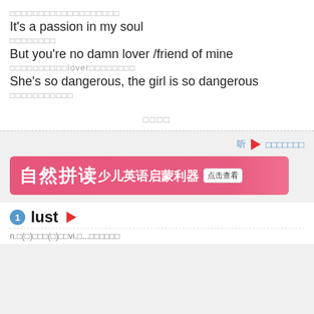□□□□□□□□□□□□□□□□□□□
It's a passion in my soul
□□□□□□□□
But you're no damn lover /friend of mine
□□□□□□□□□□lover□□□□□□□□
She's so dangerous, the girl is so dangerous
□□□□□□□□□□□
□□□□
听 ▶ □□□□□□□
[Figure (infographic): Pink advertisement banner for children's English phonics learning tool '自然拼读少儿英语启蒙利器' with a '点击查看' button]
1  lust ▶
n.□(□)□□□(□)□□vi.□...□□□□□□